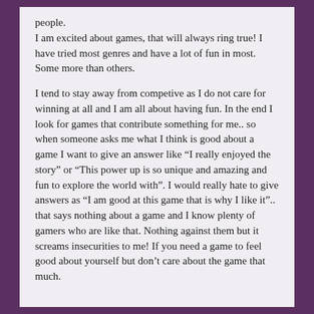people. I am excited about games, that will always ring true! I have tried most genres and have a lot of fun in most. Some more than others.
I tend to stay away from competive as I do not care for winning at all and I am all about having fun. In the end I look for games that contribute something for me.. so when someone asks me what I think is good about a game I want to give an answer like “I really enjoyed the story” or “This power up is so unique and amazing and fun to explore the world with”. I would really hate to give answers as “I am good at this game that is why I like it”.. that says nothing about a game and I know plenty of gamers who are like that. Nothing against them but it screams insecurities to me! If you need a game to feel good about yourself but don’t care about the game that much.